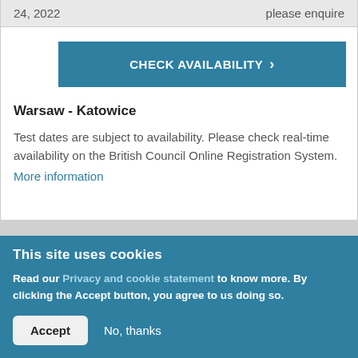| Date | Price |
| --- | --- |
| 24, 2022 | please enquire |
CHECK AVAILABILITY >
Warsaw - Katowice
Test dates are subject to availability. Please check real-time availability on the British Council Online Registration System.
More information
This site uses cookies
Read our Privacy and cookie statement to know more. By clicking the Accept button, you agree to us doing so.
Accept   No, thanks